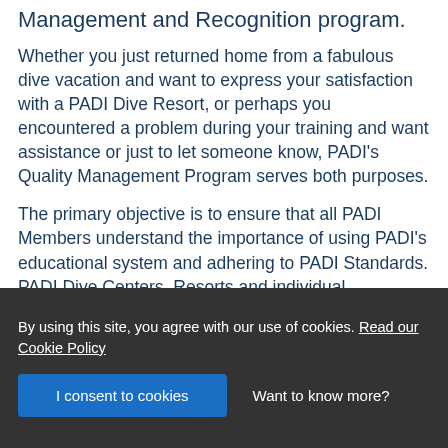Management and Recognition program.
Whether you just returned home from a fabulous dive vacation and want to express your satisfaction with a PADI Dive Resort, or perhaps you encountered a problem during your training and want assistance or just to let someone know, PADI’s Quality Management Program serves both purposes.
The primary objective is to ensure that all PADI Members understand the importance of using PADI’s educational system and adhering to PADI Standards. PADI Dive Centers, Resorts and individual professional members who demonstrate excellent service are acknowledged through the Recognition of Excellence
By using this site, you agree with our use of cookies. Read our Cookie Policy
I consent to cookies
Want to know more?